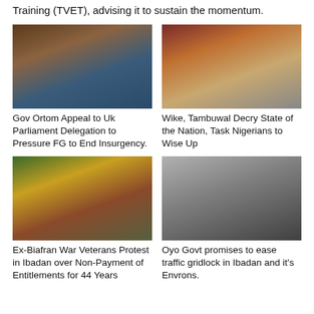Training (TVET), advising it to sustain the momentum.
[Figure (photo): Gov Ortom seated at a desk, smiling, wearing blue traditional attire and a cap]
Gov Ortom Appeal to Uk Parliament Delegation to Pressure FG to End Insurgency.
[Figure (photo): Group of officials standing under a tent at an outdoor event]
Wike, Tambuwal Decry State of the Nation, Task Nigerians to Wise Up
[Figure (photo): Crowd of Ex-Biafran War Veterans protesting in colorful attire, holding signs in Ibadan]
Ex-Biafran War Veterans Protest in Ibadan over Non-Payment of Entitlements for 44 Years
[Figure (photo): Smiling man in dark traditional attire against a light background – Oyo Govt official]
Oyo Govt promises to ease traffic gridlock in Ibadan and it's Envrons.